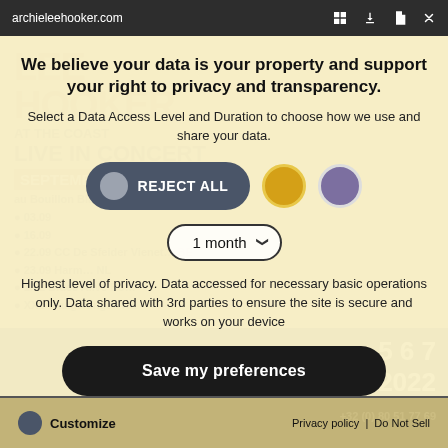archieleehooker.com
We believe your data is your property and support your right to privacy and transparency.
Select a Data Access Level and Duration to choose how we use and share your data.
REJECT ALL
1 month
Highest level of privacy. Data accessed for necessary basic operations only. Data shared with 3rd parties to ensure the site is secure and works on your device
Save my preferences
Customize
Privacy policy | Do Not Sell